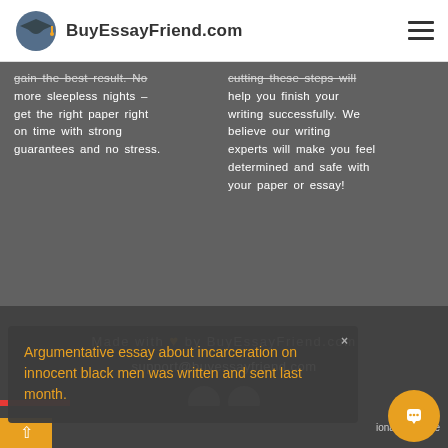BuyEssayFriend.com
more sleepless nights – get the right paper right on time with strong guarantees and no stress.
help you finish your writing successfully. We believe our writing experts will make you feel determined and safe with your paper or essay!
Made with ♥ by BuyEssayFriend.com
support@buyessayfriend.com
Argumentative essay about incarceration on innocent black men was written and sent last month.
Bu ... ionally ... mple